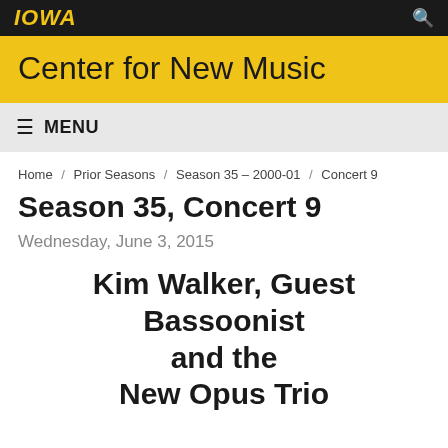IOWA
Center for New Music
≡ MENU
Home / Prior Seasons / Season 35 – 2000-01 / Concert 9
Season 35, Concert 9
Wednesday, June 3, 2015
Kim Walker, Guest Bassoonist and the New Opus Trio